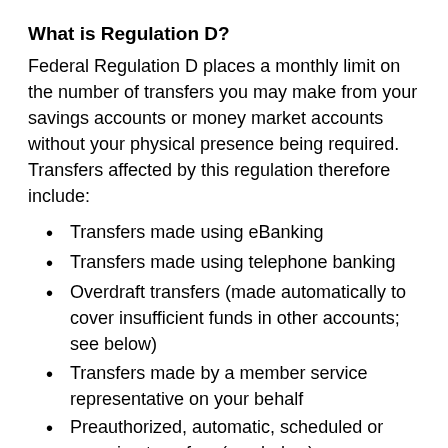What is Regulation D?
Federal Regulation D places a monthly limit on the number of transfers you may make from your savings accounts or money market accounts without your physical presence being required. Transfers affected by this regulation therefore include:
Transfers made using eBanking
Transfers made using telephone banking
Overdraft transfers (made automatically to cover insufficient funds in other accounts; see below)
Transfers made by a member service representative on your behalf
Preauthorized, automatic, scheduled or recurring transfers (see below)
You are allowed six such transfers per month, per account, but only three of those may be made by check (a check counts against the month in which it clears, not when it was written).